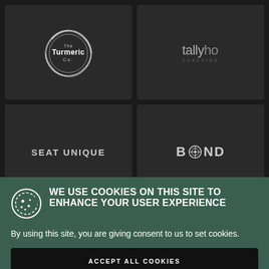[Figure (logo): The Turmeric Co. circular logo on dark background]
[Figure (logo): tallyho coaching logo in grey text on dark background]
[Figure (logo): SEAT UNIQUE logo text on dark background]
[Figure (logo): BOND logo with decorative O on dark background]
WE USE COOKIES ON THIS SITE TO ENHANCE YOUR USER EXPERIENCE
By using this site, you are giving consent to us to set cookies.
ACCEPT ALL COOKIES
MORE INFO